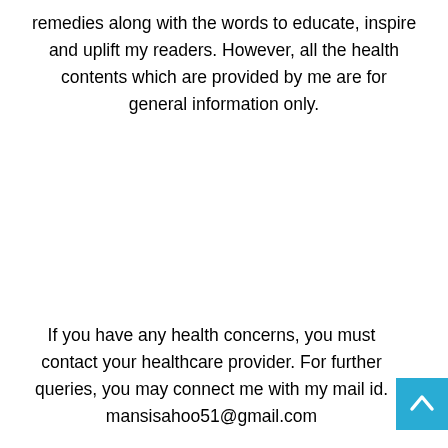remedies along with the words to educate, inspire and uplift my readers. However, all the health contents which are provided by me are for general information only.
If you have any health concerns, you must contact your healthcare provider. For further queries, you may connect me with my mail id. mansisahoo51@gmail.com